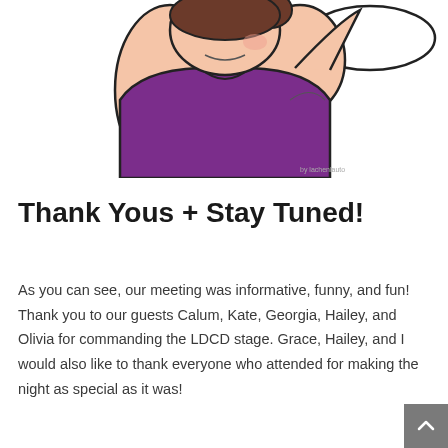[Figure (illustration): Cartoon illustration of a person with brown hair in a bun, wearing a purple sleeveless top, arm raised, with a speech bubble in the upper right corner. Small watermark text in bottom right corner.]
Thank Yous + Stay Tuned!
As you can see, our meeting was informative, funny, and fun! Thank you to our guests Calum, Kate, Georgia, Hailey, and Olivia for commanding the LDCD stage. Grace, Hailey, and I would also like to thank everyone who attended for making the night as special as it was!